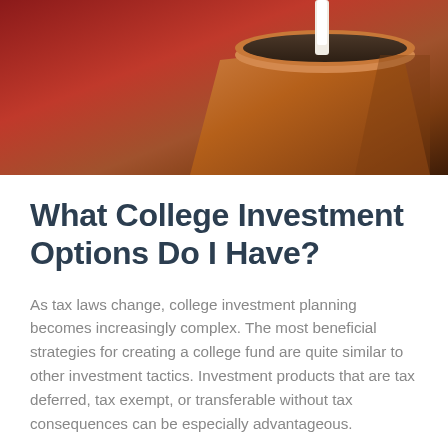[Figure (photo): Photo of a terracotta plant pot with soil and a small plant/seedling, set against a red background, partially cropped at top of page]
What College Investment Options Do I Have?
As tax laws change, college investment planning becomes increasingly complex. The most beneficial strategies for creating a college fund are quite similar to other investment tactics. Investment products that are tax deferred, tax exempt, or transferable without tax consequences can be especially advantageous.
This could be even more effective if you do your planning early.
One important aspect of an investment is its balance